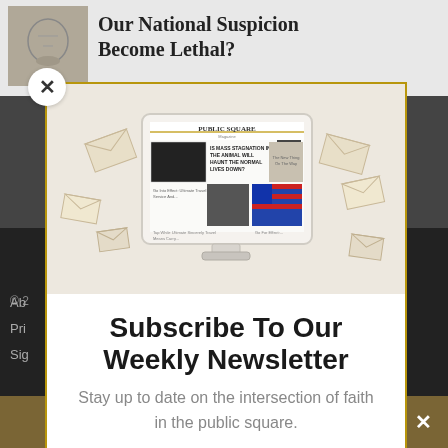Our National Suspicion Become Lethal?
[Figure (screenshot): Modal popup showing Public Square Magazine website screenshot on a monitor illustration surrounded by scattered envelopes, on a light beige background]
Subscribe To Our Weekly Newsletter
Stay up to date on the intersection of faith in the public square.
© 2
Ab
Pri
Sig
Share This  ∨